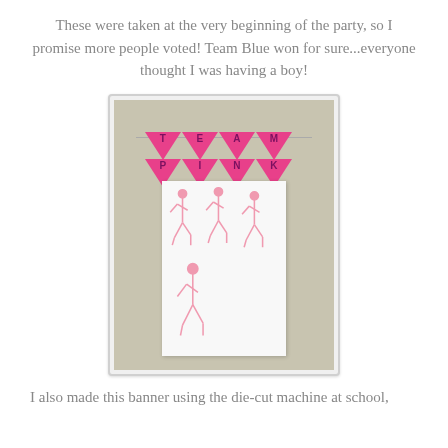These were taken at the very beginning of the party, so I promise more people voted! Team Blue won for sure...everyone thought I was having a boy!
[Figure (photo): Photo of a 'Team Pink' gender reveal banner made of pink triangular pennant flags spelling out 'TEAM PINK', hanging above a white paper/board with pink flamingo drawings on a beige/tan wall background.]
I also made this banner using the die-cut machine at school,